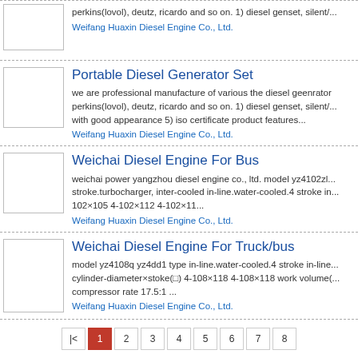Portable Diesel Generator Set — we are professional manufacture of various the diesel geenrator perkins(lovol), deutz, ricardo and so on. 1) diesel genset, silent/... with good appearance 5) iso certificate product features... — Weifang Huaxin Diesel Engine Co., Ltd.
Weichai Diesel Engine For Bus — weichai power yangzhou diesel engine co., ltd. model yz4102zl... stroke.turbocharger, inter-cooled in-line.water-cooled.4 stroke in... 102×105 4-102×112 4-102×11... — Weifang Huaxin Diesel Engine Co., Ltd.
Weichai Diesel Engine For Truck/bus — model yz4108q yz4dd1 type in-line.water-cooled.4 stroke in-line... cylinder-diameter×stoke(□) 4-108×118 4-108×118 work volume(... compressor rate 17.5:1 ... — Weifang Huaxin Diesel Engine Co., Ltd.
|< 1 2 3 4 5 6 7 8